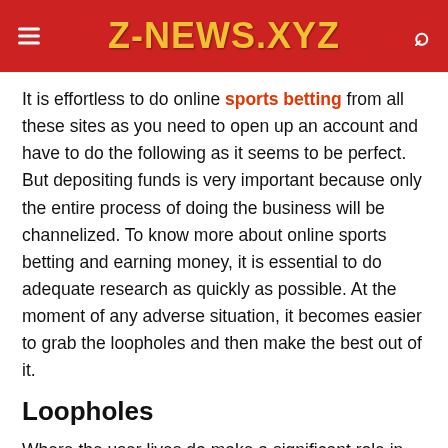Z-NEWS.XYZ
It is effortless to do online sports betting from all these sites as you need to open up an account and have to do the following as it seems to be perfect. But depositing funds is very important because only the entire process of doing the business will be channelized. To know more about online sports betting and earning money, it is essential to do adequate research as quickly as possible. At the moment of any adverse situation, it becomes easier to grab the loopholes and then make the best out of it.
Loopholes
Where the user lives do make a significant role in this forum. Only because of the timezone and then how it becomes substantial to pay the wagers, coming to the other points where the regulations on the of the above issues are in